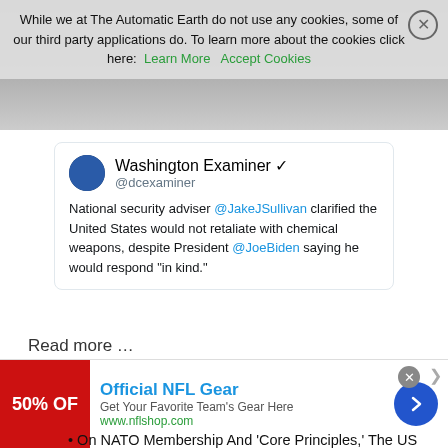While we at The Automatic Earth do not use any cookies, some of our third party applications do. To learn more about the cookies click here: Learn More  Accept Cookies
[Figure (screenshot): Tweet from Washington Examiner @dcexaminer: National security adviser @JakeJSullivan clarified the United States would not retaliate with chemical weapons, despite President @JoeBiden saying he would respond "in kind."]
Read more …
“Even Ukrainian President Volodymyr Zelensky said he has “understood that NATO is not prepared to accept Ukraine.”
On NATO Membership And ‘Core Principles,’ The US Treads On Thin Ice (Snider)
[Figure (screenshot): Advertisement: Official NFL Gear - Get Your Favorite Team's Gear Here - www.nflshop.com - 50% OFF]